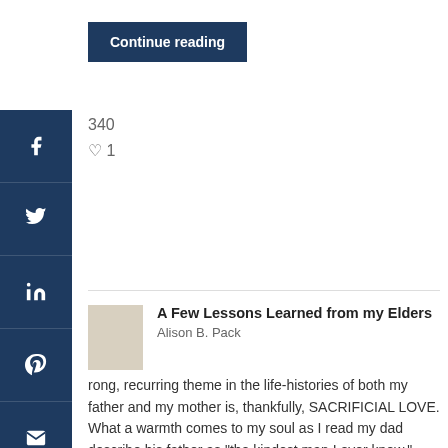[Figure (other): Continue reading button at top]
340
1
[Figure (other): Social media sidebar with Facebook, Twitter, LinkedIn, Pinterest, Email icons]
[Figure (other): Article thumbnail image placeholder]
A Few Lessons Learned from my Elders
Alison B. Pack
rong, recurring theme in the life-histories of both my father and my mother is, thankfully, SACRIFICIAL LOVE. What a warmth comes to my soul as I read my dad describe his father as "the kindest man I ever knew." James Smith Turner the Elder lived in a densely-inhabited Glasgow sandstone...
[Figure (other): Continue reading button at bottom]
1133